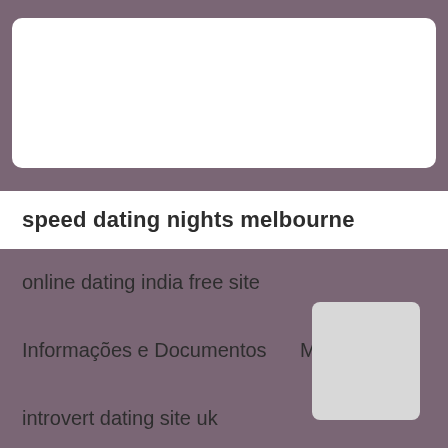[Figure (screenshot): White rounded search input box on purple/mauve background]
speed dating nights melbourne
online dating india free site
Informações e Documentos        Materiais
introvert dating site uk
[Figure (other): Light grey rounded rectangle thumbnail in bottom right corner]